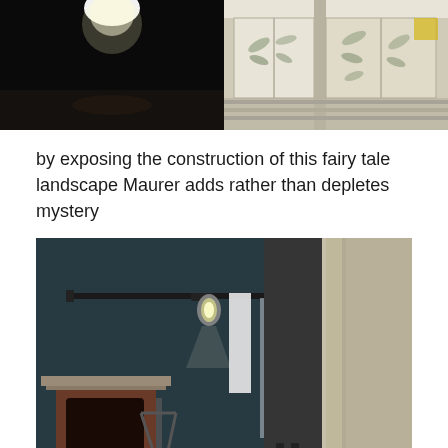[Figure (photo): Two side-by-side photos: left photo shows a dark interior space with a bright light source from above; right photo shows a room interior with decorative wall panels featuring leaf/botanical designs in muted colors]
by exposing the construction of this fairy tale landscape Maurer adds rather than depletes mystery
[Figure (photo): Large photo of an interior installation space showing stage lighting rigged on a metal bar, dark teal/blue wallpaper, a fireplace, and large dark vertical panels or columns, revealing the behind-the-scenes construction of a theatrical set]